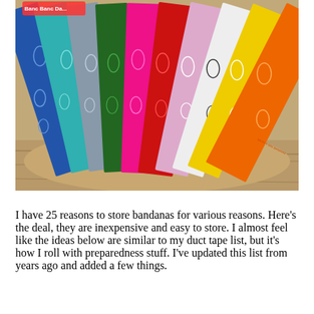[Figure (photo): A fan of colorful bandanas spread out on a wooden surface. Colors include blue, teal, gray, green, hot pink, red, pink/lavender, black/white, yellow, and orange. Bandanas have paisley patterns. A brand tag reading 'Banc Banc Da...' is visible at the top left.]
I have 25 reasons to store bandanas for various reasons. Here's the deal, they are inexpensive and easy to store. I almost feel like the ideas below are similar to my duct tape list, but it's how I roll with preparedness stuff. I've updated this list from years ago and added a few things.